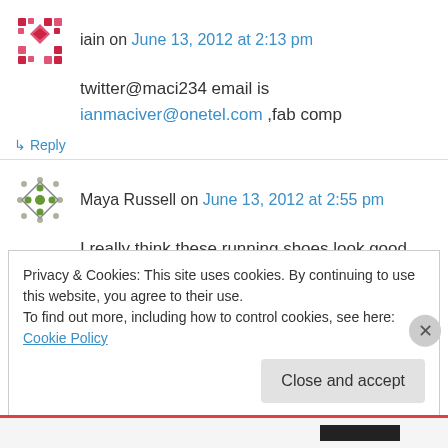iain on June 13, 2012 at 2:13 pm
twitter@maci234 email is
ianmaciver@onetel.com ,fab comp
↳ Reply
Maya Russell on June 13, 2012 at 2:55 pm
I really think these running shoes look good. @maisietoo
Privacy & Cookies: This site uses cookies. By continuing to use this website, you agree to their use.
To find out more, including how to control cookies, see here: Cookie Policy